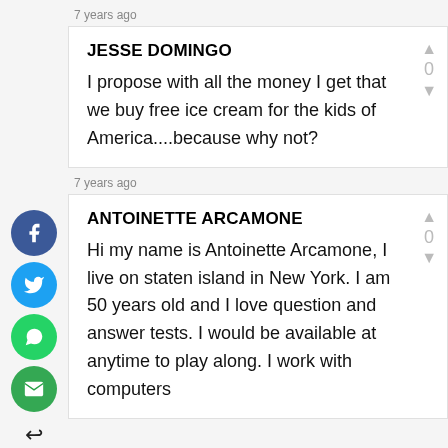7 years ago
JESSE DOMINGO
I propose with all the money I get that we buy free ice cream for the kids of America....because why not?
7 years ago
ANTOINETTE ARCAMONE
Hi my name is Antoinette Arcamone, I live on staten island in New York. I am 50 years old and I love question and answer tests. I would be available at anytime to play along. I work with computers